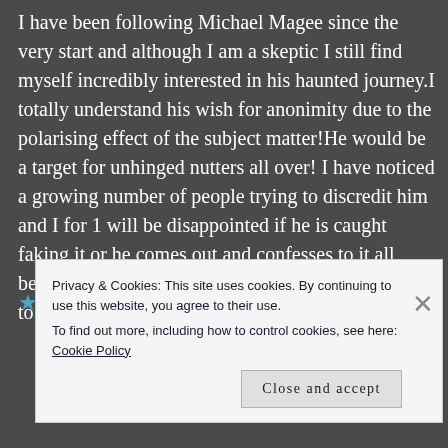I have been following Michael Magee since the very start and although I am a skeptic I still find myself incredibly interested in his haunted journey.I totally understand his wish for anonimity due to the polarising effect of the subject matter!He would be a target for unhinged nutters all over! I have noticed a growing number of people trying to discredit him and I for 1 will be disappointed if he is caught faking it or he comes out and confesses to it all being a gag!Like thousands of people i look forward to an outcome one way or the other!
★ Like
Privacy & Cookies: This site uses cookies. By continuing to use this website, you agree to their use.
To find out more, including how to control cookies, see here: Cookie Policy
Close and accept